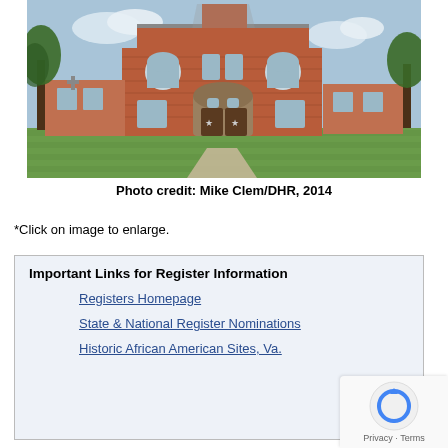[Figure (photo): A two-story red brick building (historic courthouse or church) with arched windows, a stone archway entrance with star decorations on the doors, flanked by trees and smaller brick buildings on either side, with a manicured lawn in front.]
Photo credit: Mike Clem/DHR, 2014
*Click on image to enlarge.
Important Links for Register Information
Registers Homepage
State & National Register Nominations
Historic African American Sites, Va.